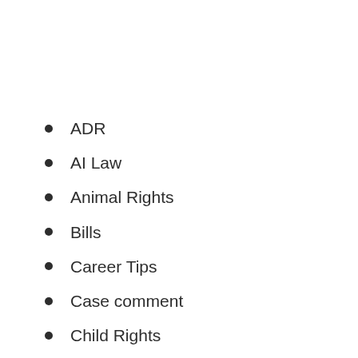ADR
AI Law
Animal Rights
Bills
Career Tips
Case comment
Child Rights
Civil Law
Civil Procedure